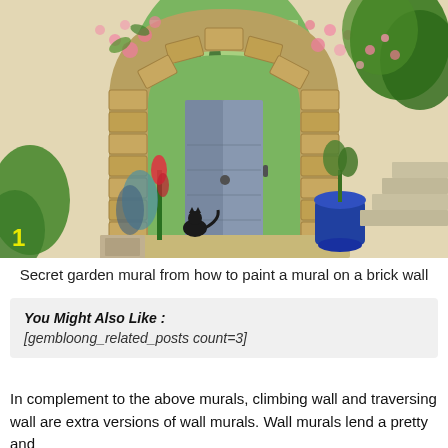[Figure (photo): A garden wall mural painting depicting a stone archway with a wooden door, pink climbing roses, a black cat sitting on the threshold, a blue ceramic pot, stone steps on the right, and a view of a green landscape through the door. A yellow number '1' badge appears in the lower-left corner of the photo.]
Secret garden mural from how to paint a mural on a brick wall
You Might Also Like :
[gembloong_related_posts count=3]
In complement to the above murals, climbing wall and traversing wall are extra versions of wall murals. Wall murals lend a pretty and